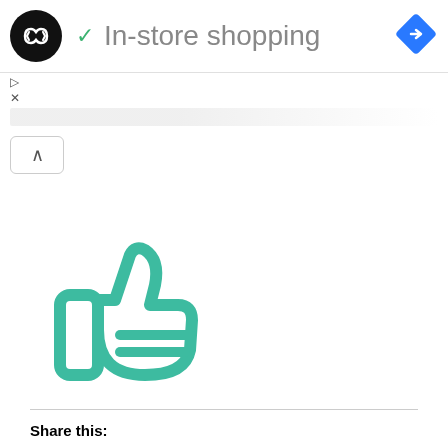[Figure (screenshot): Website header with circular logo (dark circle with infinity-like arrows icon), checkmark and 'In-store shopping' title text, and a blue diamond navigation icon on the right]
[Figure (screenshot): Ad strip with play and close icons, a collapse/chevron-up button, a teal thumbs-up icon, a horizontal divider, Share this: label, Twitter and Facebook share buttons, and bottom social share bar with Facebook, Twitter, Pinterest, WhatsApp icon buttons]